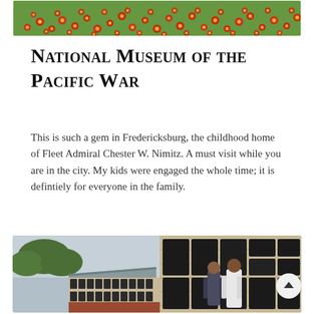[Figure (photo): Top portion of a photo showing a field of red and yellow wildflowers (Indian Blanket/Gaillardia) against green foliage]
National Museum of the Pacific War
This is such a gem in Fredericksburg, the childhood home of Fleet Admiral Chester W. Nimitz. A must visit while you are in the city. My kids were engaged the whole time; it is defintiely for everyone in the family.
[Figure (photo): Two children (seen from behind) looking at a wall of dark memorial plaques at the National Museum of the Pacific War. A long building with metal roof is visible on the left side.]